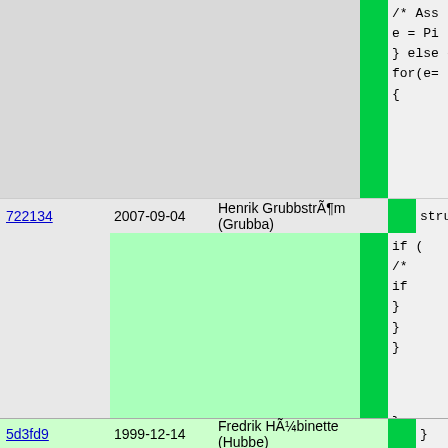[Figure (screenshot): Code repository blame/annotation view showing two commits. Top section shows code with grey background for metadata columns and a bright green highlight column, alongside source code on the right. Row for commit 722134 by Henrik GrubbstrÃ¶m (Grubba) dated 2007-09-04 with large green highlighted region. Bottom row for commit 5d3fd9 by Fredrik HÃ¼binette (Hubbe) dated 1999-12-14.]
722134 2007-09-04 Henrik Grubbström (Grubba)
5d3fd9 1999-12-14 Fredrik Hübinette (Hubbe)